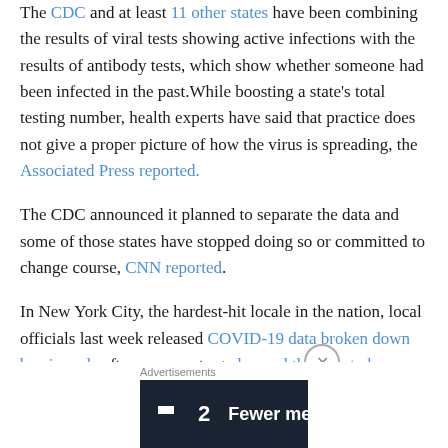The CDC and at least 11 other states have been combining the results of viral tests showing active infections with the results of antibody tests, which show whether someone had been infected in the past. While boosting a state's total testing number, health experts have said that practice does not give a proper picture of how the virus is spreading, the Associated Press reported.
The CDC announced it planned to separate the data and some of those states have stopped doing so or committed to change course, CNN reported.
In New York City, the hardest-hit locale in the nation, local officials last week released COVID-19 data broken down by zip code after pressure to go beyond the county by
[Figure (other): Advertisement banner: Fewer meetings, more work. Dark navy background with white text and logo.]